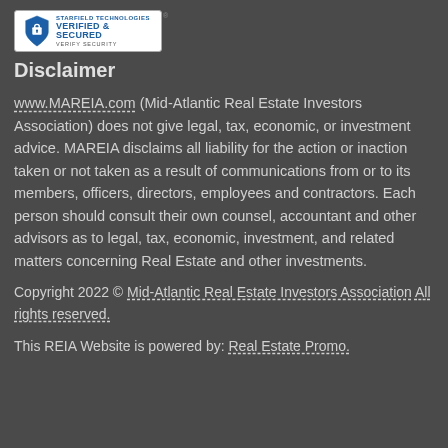[Figure (logo): Starfield Technologies Verified & Secured badge with shield icon]
Disclaimer
www.MAREIA.com (Mid-Atlantic Real Estate Investors Association) does not give legal, tax, economic, or investment advice. MAREIA disclaims all liability for the action or inaction taken or not taken as a result of communications from or to its members, officers, directors, employees and contractors. Each person should consult their own counsel, accountant and other advisors as to legal, tax, economic, investment, and related matters concerning Real Estate and other investments.
Copyright 2022 © Mid-Atlantic Real Estate Investors Association  All rights reserved.
This REIA Website is powered by: Real Estate Promo.